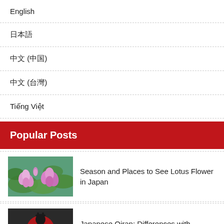English
日本語
中文 (中国)
中文 (台灣)
Tiếng Việt
Popular Posts
[Figure (photo): Pink lotus flowers with green leaves]
Season and Places to See Lotus Flower in Japan
[Figure (photo): Japanese Oiran image]
Japanese Oiran: Differences with